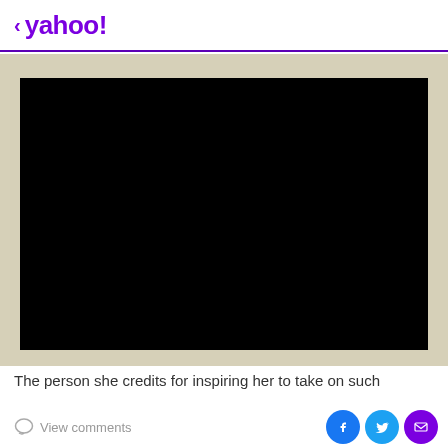< yahoo!
[Figure (screenshot): Black video player area on a beige/tan background, representing a video embedded in a Yahoo article page.]
The person she credits for inspiring her to take on such
View comments